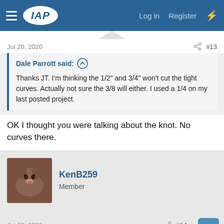IAP — Log in  Register
Jul 20, 2020  #13
Dale Parrott said:
Thanks JT. I'm thinking the 1/2" and 3/4" won't cut the tight curves. Actually not sure the 3/8 will either. I used a 1/4 on my last posted project.
OK I thought you were talking about the knot. No curves there.
KenB259
Member
Jul 20, 2020  #14
Dieseldoc said:
Dale:
I use knife building material from alphaknifesupply.com that is 0.015